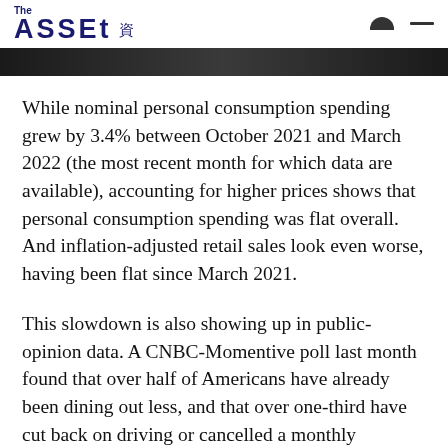The Asset 資
While nominal personal consumption spending grew by 3.4% between October 2021 and March 2022 (the most recent month for which data are available), accounting for higher prices shows that personal consumption spending was flat overall. And inflation-adjusted retail sales look even worse, having been flat since March 2021.
This slowdown is also showing up in public-opinion data. A CNBC-Momentive poll last month found that over half of Americans have already been dining out less, and that over one-third have cut back on driving or cancelled a monthly